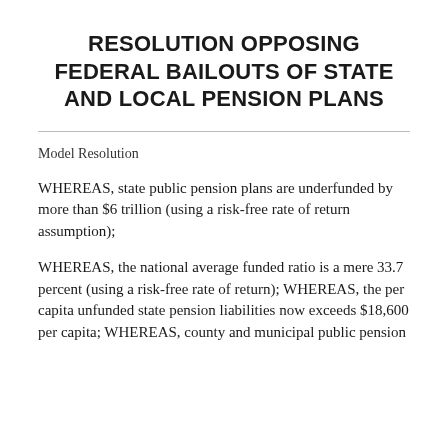RESOLUTION OPPOSING FEDERAL BAILOUTS OF STATE AND LOCAL PENSION PLANS
Model Resolution
WHEREAS, state public pension plans are underfunded by more than $6 trillion (using a risk-free rate of return assumption);
WHEREAS, the national average funded ratio is a mere 33.7 percent (using a risk-free rate of return); WHEREAS, the per capita unfunded state pension liabilities now exceeds $18,600 per capita; WHEREAS, county and municipal public pension